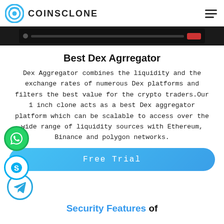COINSCLONE
[Figure (screenshot): Dark screenshot strip showing a trading interface toolbar]
Best Dex Agrregator
Dex Aggregator combines the liquidity and the exchange rates of numerous Dex platforms and filters the best value for the crypto traders.Our 1 inch clone acts as a best Dex aggregator platform which can be scalable to access over the wide range of liquidity sources with Ethereum, Binance and polygon networks.
[Figure (infographic): Free Trial call-to-action button in blue with rounded corners, and social media icons (WhatsApp, Skype, Telegram) on the left side]
Security Features of